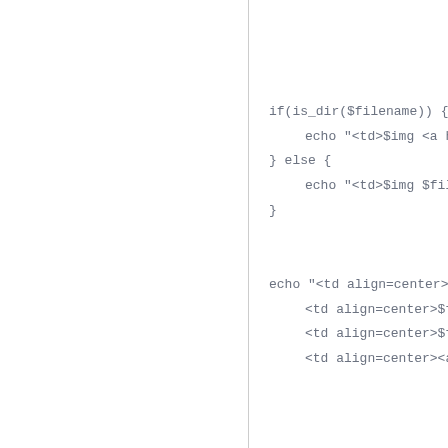if(is_dir($filename)) {
    echo "<td>$img <a href=dir...
} else {
    echo "<td>$img $filename...
}

echo "<td align=center>$file...
    <td align=center>$filedate...
    <td align=center>$filetype...
    <td align=center><a href=...